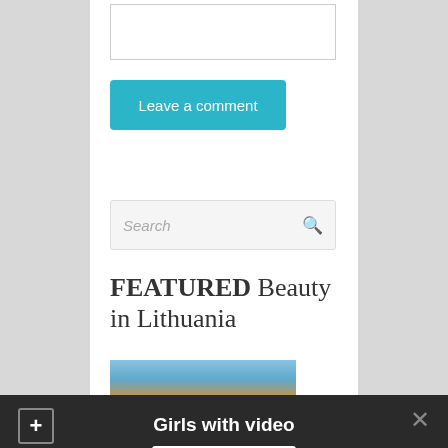[Figure (screenshot): Text input/textarea box at top of white content column]
Leave a comment
Search
FEATURED Beauty in Lithuania
[Figure (photo): Partial photo of a scene in Lithuania, showing sky and landscape]
Girls with video
Show me!